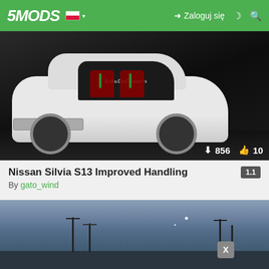5MODS  Zaloguj się
[Figure (screenshot): White Nissan Silvia S13 car with 'SokuDoChasers' banner on windshield, dark background. Download count: 856, Like count: 10.]
Nissan Silvia S13 Improved Handling
By gato_wind
[Figure (screenshot): GTA V screenshot showing a city/suburban scene with blue sky, utility poles, and an 'X' badge overlay in the lower right area of the image.]